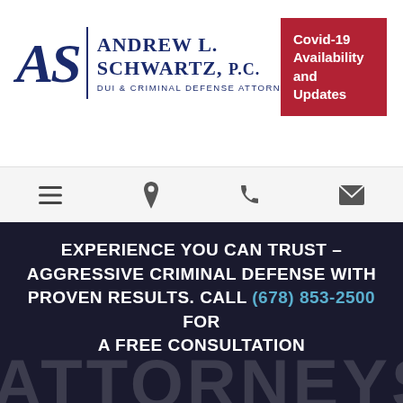[Figure (logo): Andrew L. Schwartz P.C. law firm logo with stylized 'AS' monogram and text 'DUI & Criminal Defense Attorney']
Covid-19 Availability and Updates
[Figure (other): Navigation bar with hamburger menu icon, map pin icon, phone icon, and envelope/email icon]
EXPERIENCE YOU CAN TRUST – AGGRESSIVE CRIMINAL DEFENSE WITH PROVEN RESULTS. CALL (678) 853-2500 FOR A FREE CONSULTATION
ATTORNEYS